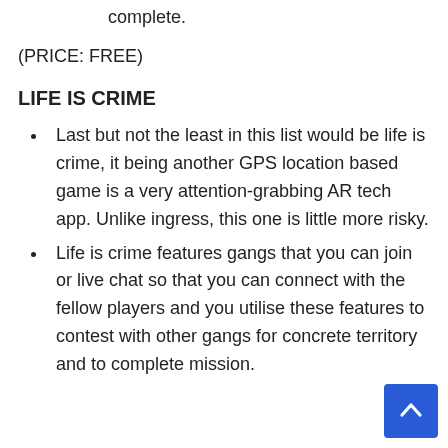complete.
(PRICE: FREE)
LIFE IS CRIME
Last but not the least in this list would be life is crime, it being another GPS location based game is a very attention-grabbing AR tech app. Unlike ingress, this one is little more risky.
Life is crime features gangs that you can join or live chat so that you can connect with the fellow players and you utilise these features to contest with other gangs for concrete territory and to complete mission.